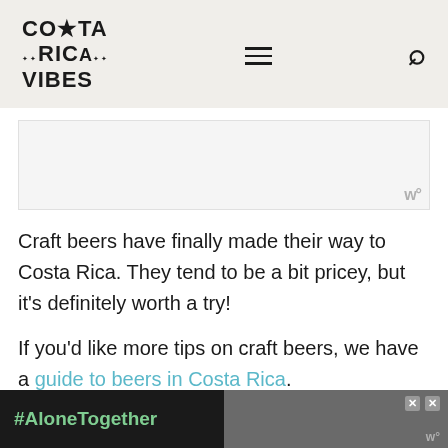COSTA RICA VIBES
[Figure (other): Advertisement placeholder area with watermark symbol]
Craft beers have finally made their way to Costa Rica. They tend to be a bit pricey, but it's definitely worth a try!
If you'd like more tips on craft beers, we have a guide to beers in Costa Rica.
[Figure (other): Bottom advertisement banner with #AloneTogether hashtag in green on dark background, and a photo of two people on the right side with close buttons]